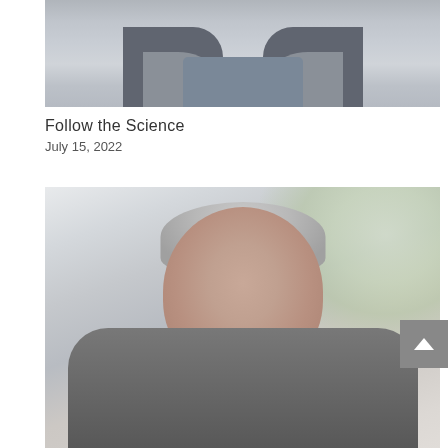[Figure (photo): Cropped photo of an older man wearing a dark vest over a blue shirt, showing chest and neck area only, faded/muted color tones]
Follow the Science
July 15, 2022
[Figure (photo): Portrait photo of an older man with gray hair, smiling, wearing a dark jacket, with blurred green/light background (bokeh effect)]